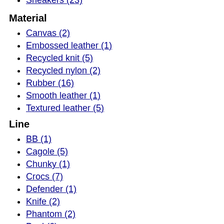Sneakers (23)
Material
Canvas (2)
Embossed leather (1)
Recycled knit (5)
Recycled nylon (2)
Rubber (16)
Smooth leather (1)
Textured leather (5)
Line
BB (1)
Cagole (5)
Chunky (1)
Crocs (7)
Defender (1)
Knife (2)
Phantom (2)
Pool (6)
Runner (4)
Speed (5)
Tourist (1)